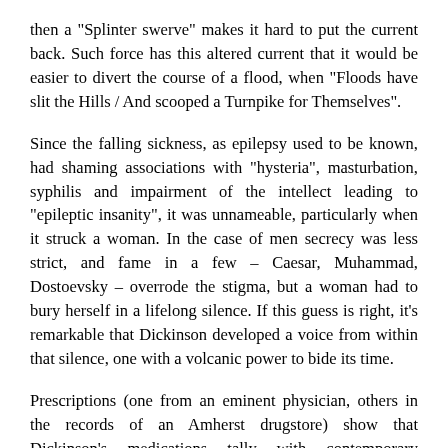then a "Splinter swerve" makes it hard to put the current back. Such force has this altered current that it would be easier to divert the course of a flood, when "Floods have slit the Hills / And scooped a Turnpike for Themselves".
Since the falling sickness, as epilepsy used to be known, had shaming associations with "hysteria", masturbation, syphilis and impairment of the intellect leading to "epileptic insanity", it was unnameable, particularly when it struck a woman. In the case of men secrecy was less strict, and fame in a few – Caesar, Muhammad, Dostoevsky – overrode the stigma, but a woman had to bury herself in a lifelong silence. If this guess is right, it's remarkable that Dickinson developed a voice from within that silence, one with a volcanic power to bide its time.
Prescriptions (one from an eminent physician, others in the records of an Amherst drugstore) show that Dickinson's medications tally with contemporary treatments for